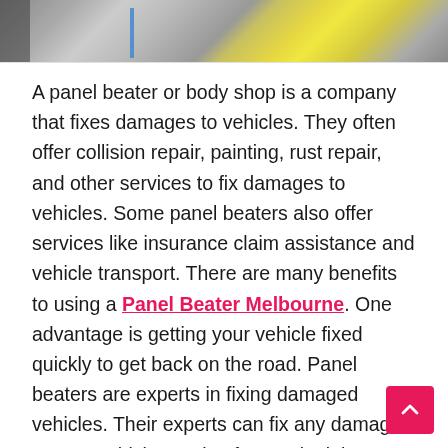[Figure (photo): Top portion of a photo showing what appears to be a vehicle repair or body shop scene with yellow and grey tones, partially cropped]
A panel beater or body shop is a company that fixes damages to vehicles. They often offer collision repair, painting, rust repair, and other services to fix damages to vehicles. Some panel beaters also offer services like insurance claim assistance and vehicle transport. There are many benefits to using a Panel Beater Melbourne. One advantage is getting your vehicle fixed quickly to get back on the road. Panel beaters are experts in fixing damaged vehicles. Their experts can fix any damage to your vehicle ranging from paint jobs to repairing the headlights. When the experts at the panel beater or body shop finish setting your vehicle, your car will look new, and everyone will think